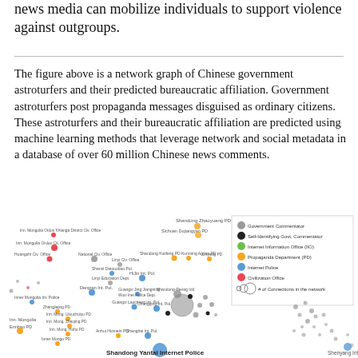news media can mobilize individuals to support violence against outgroups.
The figure above is a network graph of Chinese government astroturfers and their predicted bureaucratic affiliation. Government astroturfers post propaganda messages disguised as ordinary citizens. These astroturfers and their bureaucratic affiliation are predicted using machine learning methods that leverage network and social metadata in a database of over 60 million Chinese news comments.
[Figure (network-graph): Network graph of Chinese government astroturfers and their predicted bureaucratic affiliation. Nodes of different colors and sizes represent different bureaucratic affiliations (Government Commentators, Self-Identifying Govt. Commentators, Internet Information Office, Propaganda Department, Internet Police, Civilization Office). Node size indicates number of connections in the network. Labeled nodes include Shandong Yantai Internet Police, Shandong Zhaoyuang PD, Sichuan Dujiangyan PD, National Civ. Office, Inner Mongolia Ordos etc.]